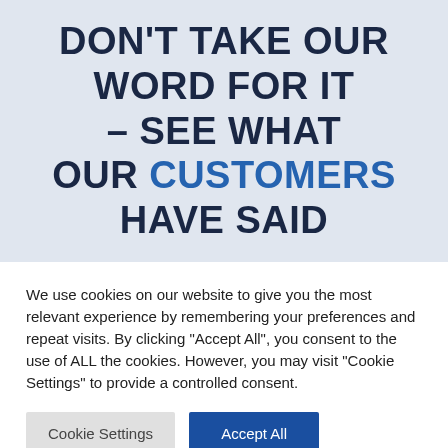DON'T TAKE OUR WORD FOR IT - SEE WHAT OUR CUSTOMERS HAVE SAID
We use cookies on our website to give you the most relevant experience by remembering your preferences and repeat visits. By clicking "Accept All", you consent to the use of ALL the cookies. However, you may visit "Cookie Settings" to provide a controlled consent.